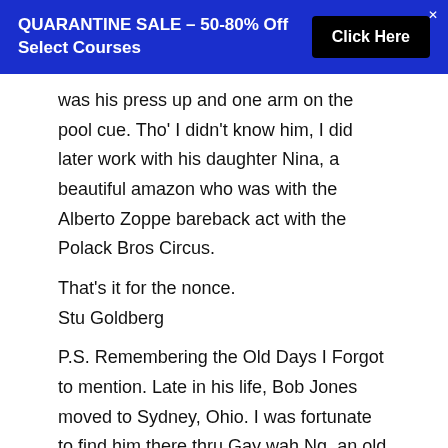QUARANTINE SALE – 50-80% Off Select Courses  [Click Here]
was his press up and one arm on the pool cue. Tho' I didn't know him, I did later work with his daughter Nina, a beautiful amazon who was with the Alberto Zoppe bareback act with the Polack Bros Circus.
That's it for the nonce.
Stu Goldberg
P.S. Remembering the Old Days I Forgot to mention. Late in his life, Bob Jones moved to Sydney, Ohio. I was fortunate to find him there thru Gay wah Ng, an old army pal, and get to talk with Bob at some length before he